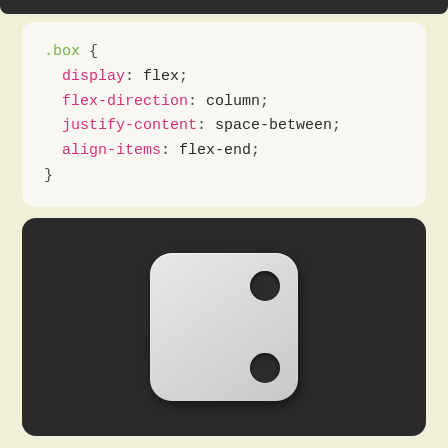.box {
  display: flex;
  flex-direction: column;
  justify-content: space-between;
  align-items: flex-end;
}
[Figure (illustration): Dark rounded rectangle preview area containing a white/light-gray rounded square die showing 2 dots — one in the upper-left area and one in the lower-right area, representing the CSS flexbox result with flex-direction: column, justify-content: space-between, and align-items: flex-end.]